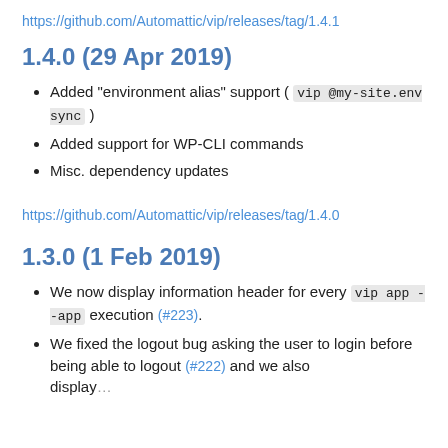https://github.com/Automattic/vip/releases/tag/1.4.1
1.4.0 (29 Apr 2019)
Added "environment alias" support ( vip @my-site.env sync )
Added support for WP-CLI commands
Misc. dependency updates
https://github.com/Automattic/vip/releases/tag/1.4.0
1.3.0 (1 Feb 2019)
We now display information header for every vip app --app execution (#223).
We fixed the logout bug asking the user to login before being able to logout (#222) and we also display...